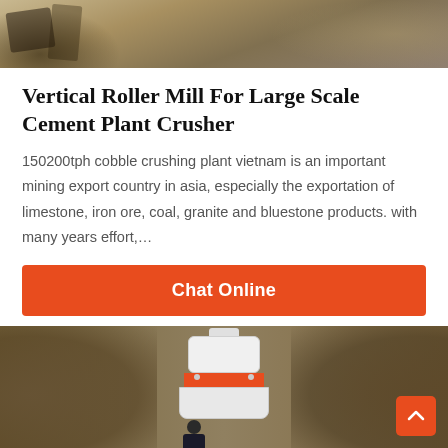[Figure (photo): Top portion of a mining/quarry site showing rocky ground and sand]
Vertical Roller Mill For Large Scale Cement Plant Crusher
150200tph cobble crushing plant vietnam is an important mining export country in asia, especially the exportation of limestone, iron ore, coal, granite and bluestone products. with many years effort,…
Chat Online
[Figure (photo): Photo of a cone crusher machine in white and red with a person standing in front of it, set against rocky walls]
Leave Message
Chat Online